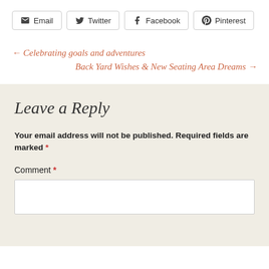[Figure (other): Social share buttons: Email, Twitter, Facebook, Pinterest]
← Celebrating goals and adventures
Back Yard Wishes & New Seating Area Dreams →
Leave a Reply
Your email address will not be published. Required fields are marked *
Comment *